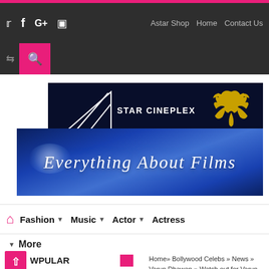Twitter  Facebook  Google+  Instagram  |  Astar Shop  Home  Contact Us
[Figure (logo): Star Cineplex logo with triangle geometric shape and phoenix bird, on dark navy background. Below: 'Everything About Films' text on blue gradient background.]
Fashion ▼  Music ▼  Actor ▼  Actress
More
Home » Bollywood Celebs » News » Varun Dhawan » Watch out for Varun Dhawan appearing in Kareela b...